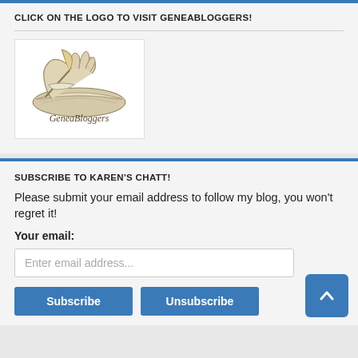CLICK ON THE LOGO TO VISIT GENEABLOGGERS!
[Figure (logo): GeneaBloggers logo: a hand writing with a quill pen, with text 'GeneaBloggers' below]
SUBSCRIBE TO KAREN'S CHATT!
Please submit your email address to follow my blog, you won't regret it!
Your email: